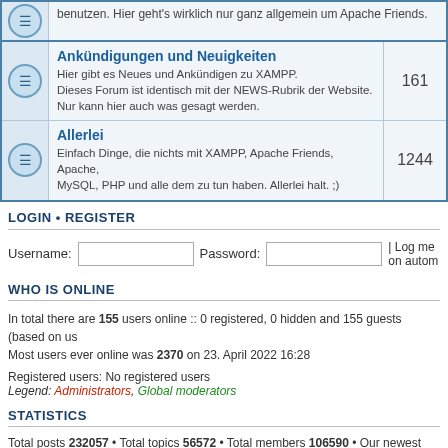benutzen. Hier geht's wirklich nur ganz allgemein um Apache Friends.
Ankündigungen und Neuigkeiten
Hier gibt es Neues und Ankündigen zu XAMPP. Dieses Forum ist identisch mit der NEWS-Rubrik der Website. Nur kann hier auch was gesagt werden. 161
Allerlei
Einfach Dinge, die nichts mit XAMPP, Apache Friends, Apache, MySQL, PHP und alle dem zu tun haben. Allerlei halt. ;) 1244
LOGIN • REGISTER
Username: Password: | Log me on autom
WHO IS ONLINE
In total there are 155 users online :: 0 registered, 0 hidden and 155 guests (based on us. Most users ever online was 2370 on 23. April 2022 16:28
Registered users: No registered users
Legend: Administrators, Global moderators
STATISTICS
Total posts 232057 • Total topics 56572 • Total members 106590 • Our newest member a
Board index  The team • Delete all
Powered by Bitnami phpBB Privacy Policy